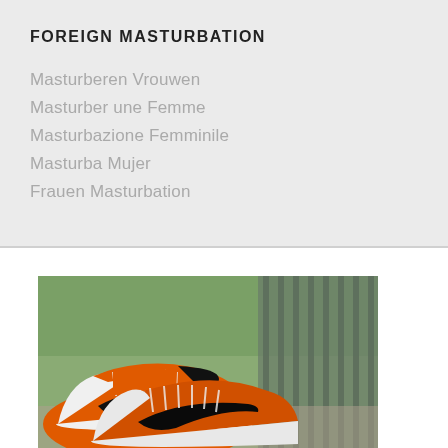FOREIGN MASTURBATION
Masturberen Vrouwen
Masturber une Femme
Masturbazione Femminile
Masturba Mujer
Frauen Masturbation
[Figure (photo): Photo of orange and white Nike Air Jordan 1 sneakers with black swoosh logo, placed on a surface with blurred green and grey background.]